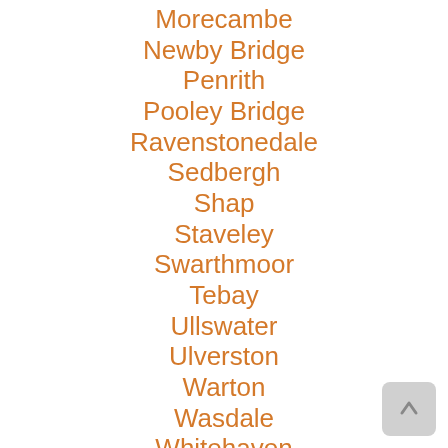Morecambe
Newby Bridge
Penrith
Pooley Bridge
Ravenstonedale
Sedbergh
Shap
Staveley
Swarthmoor
Tebay
Ullswater
Ulverston
Warton
Wasdale
Whitehaven
Wigton
Windermere
Workington